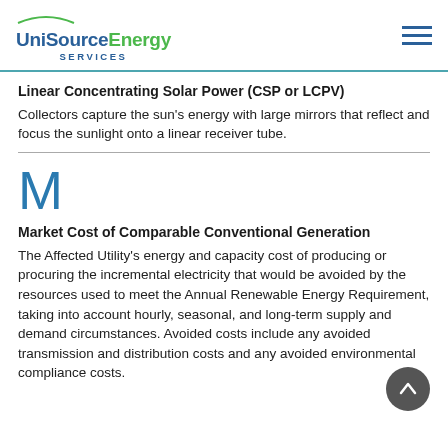UniSource Energy SERVICES
Linear Concentrating Solar Power (CSP or LCPV)
Collectors capture the sun's energy with large mirrors that reflect and focus the sunlight onto a linear receiver tube.
M
Market Cost of Comparable Conventional Generation
The Affected Utility's energy and capacity cost of producing or procuring the incremental electricity that would be avoided by the resources used to meet the Annual Renewable Energy Requirement, taking into account hourly, seasonal, and long-term supply and demand circumstances. Avoided costs include any avoided transmission and distribution costs and any avoided environmental compliance costs.